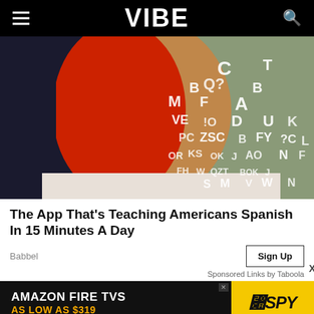VIBE
[Figure (photo): Woman with red paint covering half her face, surrounded by floating letters on a green/olive background. Language learning themed editorial image.]
The App That's Teaching Americans Spanish In 15 Minutes A Day
Babbel
Sign Up
Sponsored Links by Taboola
[Figure (screenshot): Amazon Fire TVs advertisement banner. Text: AMAZON FIRE TVS AS LOW AS $319. SPY logo on yellow background on the right.]